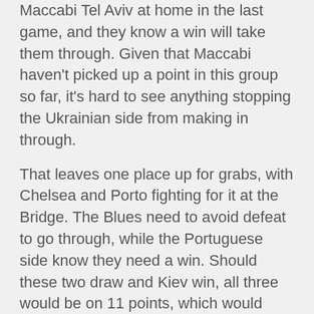Maccabi Tel Aviv at home in the last game, and they know a win will take them through. Given that Maccabi haven't picked up a point in this group so far, it's hard to see anything stopping the Ukrainian side from making in through.
That leaves one place up for grabs, with Chelsea and Porto fighting for it at the Bridge. The Blues need to avoid defeat to go through, while the Portuguese side know they need a win. Should these two draw and Kiev win, all three would be on 11 points, which would leave Dynamo top and Chelsea second.
Jose Mourinho would clearly much rather see his team finish top of the group, which would see them avoid the likes of Bayern Munich and Barcelona in the next round. Don't expect to see the team grinding out a draw here, they should push for a win and try and take top spot. Had you offered fans anything other than top at the start of the season